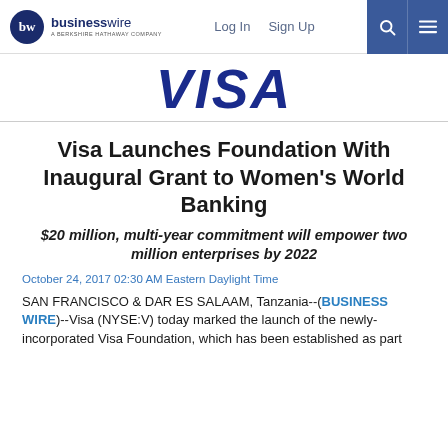businesswire | Log In  Sign Up
[Figure (logo): VISA logo in dark navy blue italic bold text]
Visa Launches Foundation With Inaugural Grant to Women's World Banking
$20 million, multi-year commitment will empower two million enterprises by 2022
October 24, 2017 02:30 AM Eastern Daylight Time
SAN FRANCISCO & DAR ES SALAAM, Tanzania--(BUSINESS WIRE)--Visa (NYSE:V) today marked the launch of the newly-incorporated Visa Foundation, which has been established as part